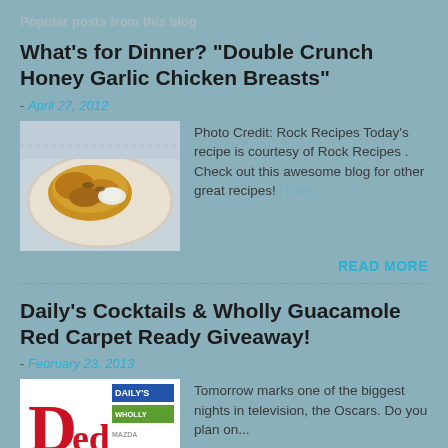Popular posts from this blog
What's for Dinner? "Double Crunch Honey Garlic Chicken Breasts"
- April 27, 2012
[Figure (photo): Photo of Double Crunch Honey Garlic Chicken Breasts on a plate]
Photo Credit: Rock Recipes Today's recipe is courtesy of Rock Recipes . Check out this awesome blog for other great recipes! I'll be...
READ MORE
Daily's Cocktails & Wholly Guacamole Red Carpet Ready Giveaway!
- February 23, 2013
[Figure (logo): Red Carpet logo with Daily's and Wholly Guacamole branding]
Tomorrow marks one of the biggest nights in television, the Oscars. Do you plan on...